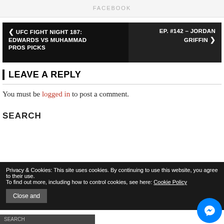FACEBOOK
< UFC FIGHT NIGHT 187: EDWARDS VS MUHAMMAD PROS PICKS
EP. #142 – JORDAN GRIFFIN >
LEAVE A REPLY
You must be logged in to post a comment.
SEARCH
Privacy & Cookies: This site uses cookies. By continuing to use this website, you agree to their use. To find out more, including how to control cookies, see here: Cookie Policy
Close and